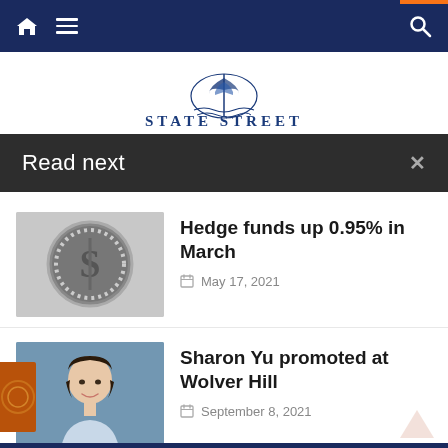State Street navigation bar
[Figure (logo): State Street newspaper-ship logo with 'STATE STREET' text in blue serif font]
Read next
[Figure (photo): A decorative dollar sign medallion/brooch with rhinestones]
Hedge funds up 0.95% in March
May 17, 2021
[Figure (photo): Portrait photo of Sharon Yu, an Asian woman with short dark hair wearing a light blue outfit, blue background]
Sharon Yu promoted at Wolver Hill
September 8, 2021